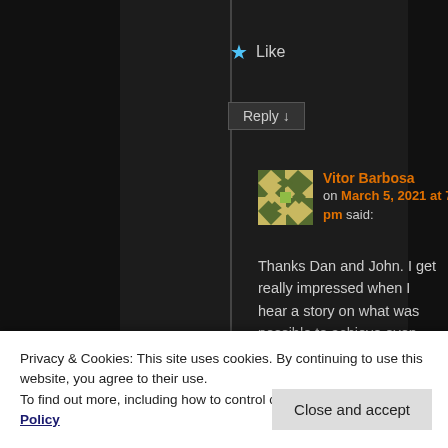★ Like
Reply ↓
Vitor Barbosa on March 5, 2021 at 7:16 pm said:
Thanks Dan and John. I get really impressed when I hear a story on what was possible to achieve even such a long time ago. It's unlikely that those chips are even
scan anything in the um range for
Privacy & Cookies: This site uses cookies. By continuing to use this website, you agree to their use.
To find out more, including how to control cookies, see here: Cookie Policy
Close and accept